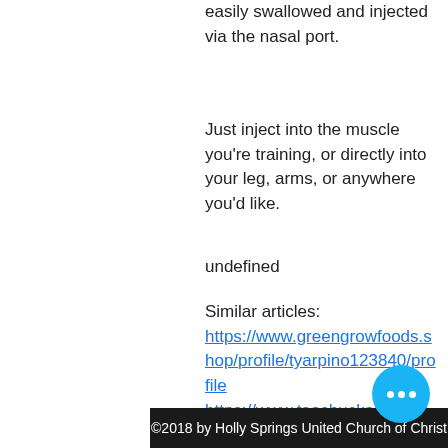easily swallowed and injected via the nasal port.
Just inject into the muscle you're training, or directly into your leg, arms, or anywhere you'd like.
undefined
Similar articles:
https://www.greengrowfoods.shop/profile/tyarpino123840/profile
https://www.taochuckandkelly.com/profile/quentinhull151560/profile
https://www.edhopwood.com/profile/aleshiaiverson73389/profile
https://www.squabetty.com/profile/sergioblinks175865/profile
©2018 by Holly Springs United Church of Christ